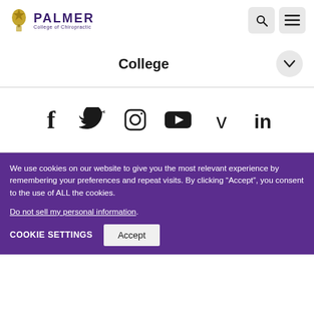[Figure (logo): Palmer College of Chiropractic logo with gold crest and purple text]
College
[Figure (infographic): Social media icons: Facebook, Twitter, Instagram, YouTube, Vimeo, LinkedIn]
We use cookies on our website to give you the most relevant experience by remembering your preferences and repeat visits. By clicking “Accept”, you consent to the use of ALL the cookies.
Do not sell my personal information.
COOKIE SETTINGS
Accept